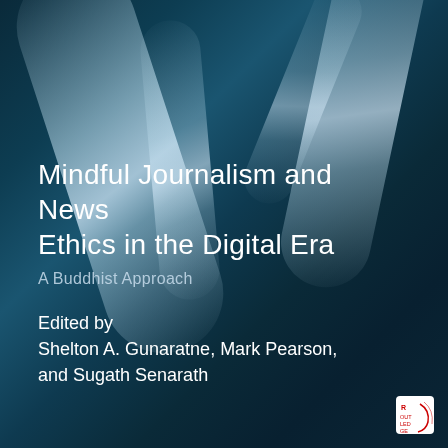[Figure (illustration): Book cover with dark teal/blue abstract background featuring soft white light swirls or ribbon-like shapes against a dark blue-teal gradient backdrop.]
Mindful Journalism and News Ethics in the Digital Era
A Buddhist Approach
Edited by
Shelton A. Gunaratne, Mark Pearson,
and Sugath Senarath